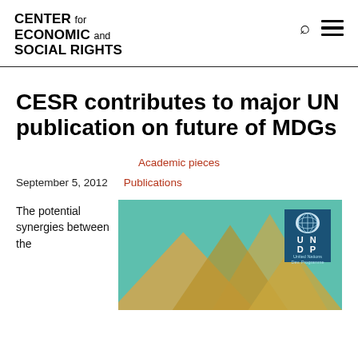CENTER for ECONOMIC and SOCIAL RIGHTS
CESR contributes to major UN publication on future of MDGs
Academic pieces
September 5, 2012  Publications
The potential synergies between the
[Figure (illustration): Book cover showing UNDP publication with a teal/green background and mountain-like shapes in gold/orange tones, with the UNDP logo badge in the upper right corner.]